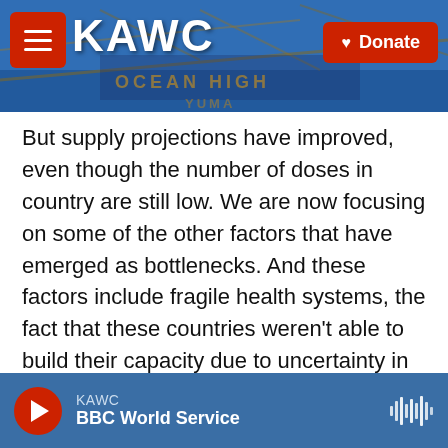KAWC — BBC World Service header with Donate button
But supply projections have improved, even though the number of doses in country are still low. We are now focusing on some of the other factors that have emerged as bottlenecks. And these factors include fragile health systems, the fact that these countries weren't able to build their capacity due to uncertainty in supply and vaccine acceptance.
RASCOE: Can we dig a little bit more into that infrastructure issue? President Biden's chief medical adviser, Dr. Anthony Fauci, said recently that many of the doses that have been shipped have not been used and that some African
KAWC — BBC World Service